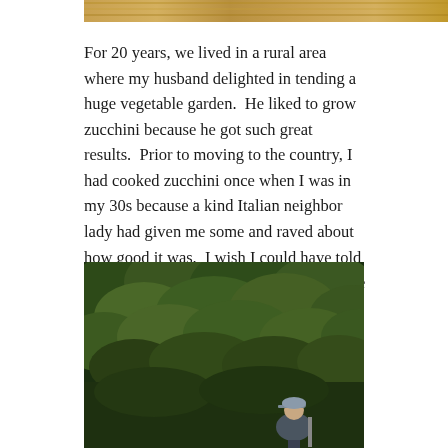[Figure (photo): Top portion of a decorative or food-related image, cropped at top of page]
For 20 years, we lived in a rural area where my husband delighted in tending a huge vegetable garden.  He liked to grow zucchini because he got such great results.  Prior to moving to the country, I had cooked zucchini once when I was in my 30s because a kind Italian neighbor lady had given me some and raved about how good it was.  I wish I could have told her how much experience I got later in life with her favorite vegetable.
[Figure (photo): A person wearing a cap standing in front of dense green trees/foliage, photographed outdoors]